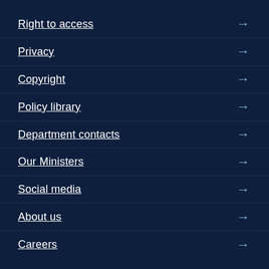Right to access
Privacy
Copyright
Policy library
Department contacts
Our Ministers
Social media
About us
Careers